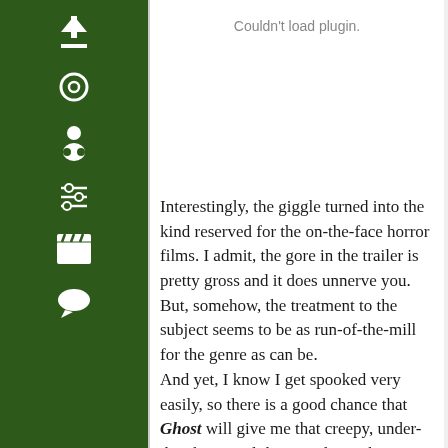[Figure (other): Green sidebar with navigation icons: up arrow, circle/record, person/profile, sliders/settings, clapperboard/movies, speech bubble/comments]
Couldn't load plugin.
Interestingly, the giggle turned into the kind reserved for the on-the-face horror films. I admit, the gore in the trailer is pretty gross and it does unnerve you. But, somehow, the treatment to the subject seems to be as run-of-the-mill for the genre as can be.
And yet, I know I get spooked very easily, so there is a good chance that Ghost will give me that creepy, under-the-skin crawl that any decent horror film ought to. That besides though, there isn't much to look forward to. The songs sound like any other genre from the Vikram Bhatt camp. And these views are